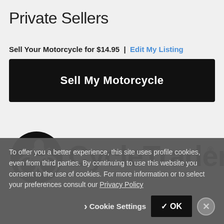Private Sellers
Sell Your Motorcycle for $14.95 | Edit My Listing
Sell My Motorcycle
[Figure (logo): Cycle Trader logo with motorcycle icon in a circle and bold 'Cycle Trader' wordmark with registered trademark symbol]
To offer you a better experience, this site uses profile cookies, even from third parties. By continuing to use this website you consent to the use of cookies. For more information or to select your preferences consult our Privacy Policy
Cookie Settings  ✓ OK  ×